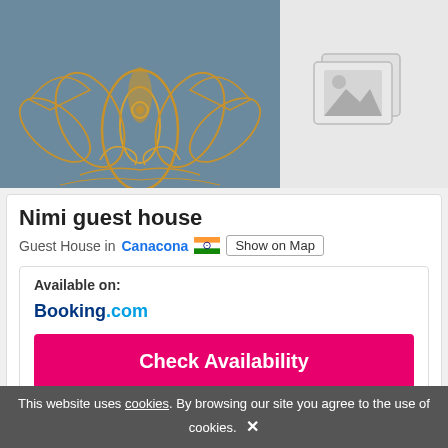[Figure (photo): Decorative golden lotus/henna art on dark blue-grey background, main property photo]
[Figure (illustration): Grey placeholder image icon showing stacked photos with mountain/landscape symbol]
Nimi guest house
Guest House in Canacona 🇮🇳 Show on Map
Available on:
Booking.com
Check Availability
Categories 1
This website uses cookies. By browsing our site you agree to the use of cookies.